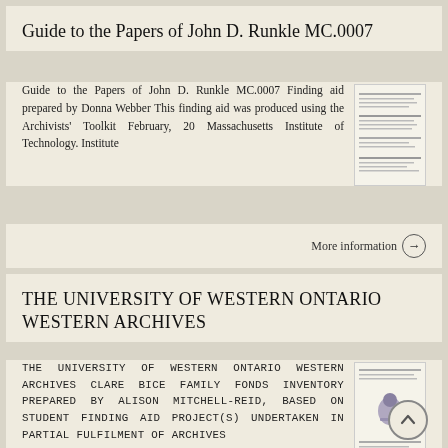Guide to the Papers of John D. Runkle MC.0007
Guide to the Papers of John D. Runkle MC.0007 Finding aid prepared by Donna Webber This finding aid was produced using the Archivists' Toolkit February, 20 Massachusetts Institute of Technology. Institute
More information →
THE UNIVERSITY OF WESTERN ONTARIO WESTERN ARCHIVES
THE UNIVERSITY OF WESTERN ONTARIO WESTERN ARCHIVES CLARE BICE FAMILY FONDS Inventory prepared by Alison Mitchell-Reid, based on student finding aid project(s) undertaken in partial fulfilment of archives